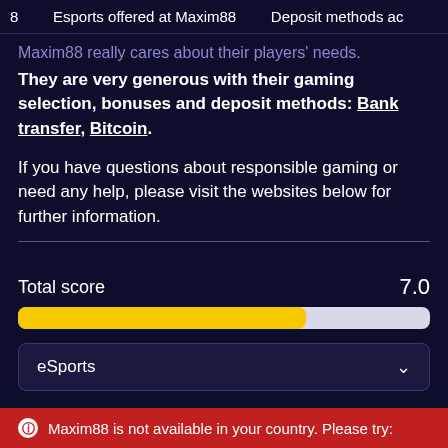8    Esports offered at Maxim88    Deposit methods ac
Maxim88 really cares about their players' needs. They are very generous with their gaming selection, bonuses and deposit methods: Bank transfer, Bitcoin.
If you have questions about responsible gaming or need any help, please visit the websites below for further information.
[Figure (infographic): Total score progress bar showing 7.0 out of 10, with a yellow filled bar at 70% and grey unfilled portion.]
eSports
Maxim88 is not available in your country. Please try: